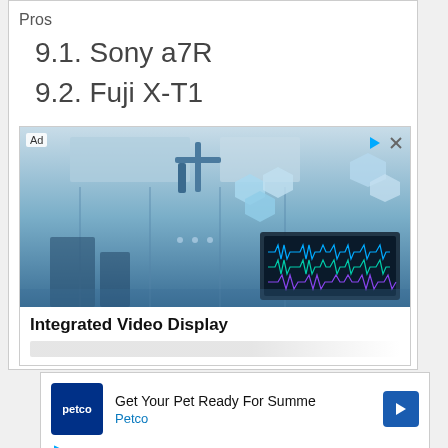Pros
9.1. Sony a7R
9.2. Fuji X-T1
[Figure (photo): Advertisement showing a medical/surgical operating room with overhead lights and a patient monitoring display screen showing waveforms. Ad label and close controls visible. Caption reads 'Integrated Video Display'.]
[Figure (photo): Petco advertisement: 'Get Your Pet Ready For Summe' with Petco logo and arrow icon, and a play button icon at bottom left.]